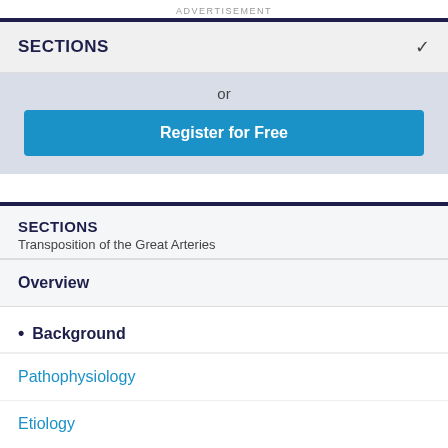ADVERTISEMENT
SECTIONS
or
Register for Free
SECTIONS
Transposition of the Great Arteries
Overview
Background
Pathophysiology
Etiology